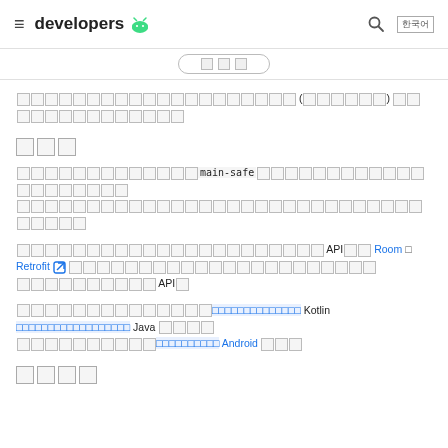≡ developers [Android logo] [search] [language]
[tab pill: partially visible text]
□□□□□□□□□□□□□□□□□□□□ (□□□□□□) □□□□□□□□□□□□□□
□□□
□□□□□□□□□□□□□main-safe□□□□□□□□□□□□□□□□□□□□□□□□□□□□□□□□□□□□□□□□□□□□□□□□□□□□□□□□□□□□□□□□□□□□□□□□□□□□□□□□□□□□□□□
□□□□□□□□□□□□□□□□□□□□□□ API□□□ Room □ Retrofit [ext] □□□□□□□□□□□□□□□□□□□□□□□□□□□□□□□□□□□□□□□□□□□ API□
□□□□□□□□□□□□□□□□□□□□□□□□□□□□□ Kotlin □□□□□□□□□□□□□□□□□□□□□□ Java □□□□□□□□□□□□□□□□□□□□□□□□□□□ Android □□□
□□□□